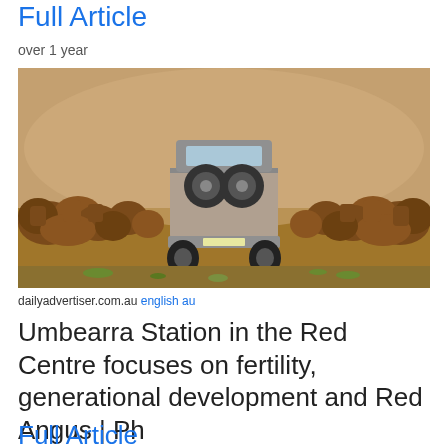Full Article
over 1 year
[Figure (photo): Rear view of a utility truck/ute driving through a dusty outback landscape surrounded by a large herd of red/brown cattle on both sides]
dailyadvertiser.com.au english au
Umbearra Station in the Red Centre focuses on fertility, generational development and Red Angus | Ph
Full Article